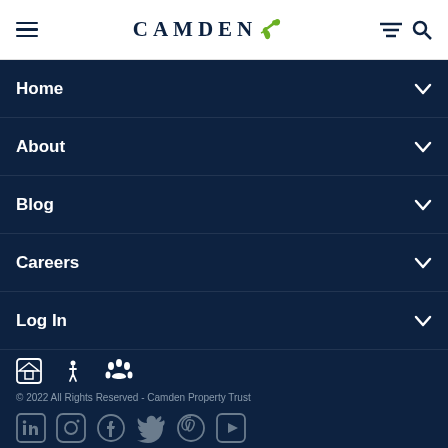Camden (logo with hummingbird)
Home
About
Blog
Careers
Log In
Icons: home/fair housing, accessibility, pets
© 2022 All Rights Reserved - Camden Property Trust
Social media icons: LinkedIn, Instagram, Facebook, Twitter, Pinterest, YouTube